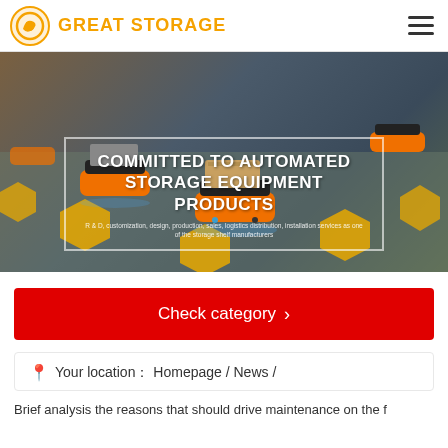GREAT STORAGE
[Figure (photo): Warehouse automation scene with orange AGV robots carrying packages on a grey floor with yellow hexagonal markers. Text overlay reads: COMMITTED TO AUTOMATED STORAGE EQUIPMENT PRODUCTS. R&D, customization, design, production, sales, logistics distribution, installation services as one of the storage shelf manufacturers.]
Check category >
Your location： Homepage / News /
Brief analysis the reasons that should drive maintenance on the f